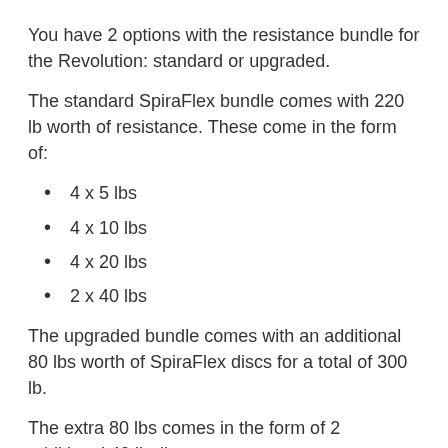You have 2 options with the resistance bundle for the Revolution: standard or upgraded.
The standard SpiraFlex bundle comes with 220 lb worth of resistance. These come in the form of:
4 x 5 lbs
4 x 10 lbs
4 x 20 lbs
2 x 40 lbs
The upgraded bundle comes with an additional 80 lbs worth of SpiraFlex discs for a total of 300 lb.
The extra 80 lbs comes in the form of 2 additional 40 lb discs.
A quick note- 2 of the 5 lb discs are attached to the machine components, though it has come up that th...